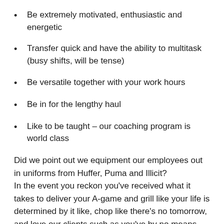Be extremely motivated, enthusiastic and energetic
Transfer quick and have the ability to multitask (busy shifts, will be tense)
Be versatile together with your work hours
Be in for the lengthy haul
Like to be taught – our coaching program is world class
Did we point out we equipment our employees out in uniforms from Huffer, Puma and Illicit?
In the event you reckon you've received what it takes to deliver your A-game and grill like your life is determined by it like, chop like there's no tomorrow, and love our clients such as you've by no means been damage then we wish to hear from you.
As a result of we all know there's extra to you than simply your CV, we wish to provide the probability to let your